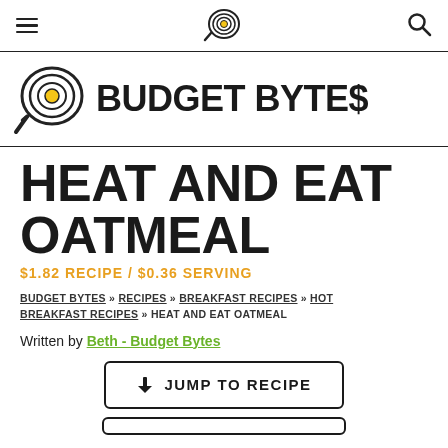Budget Bytes navigation bar with hamburger menu, logo icon, and search icon
[Figure (logo): Budget Bytes logo with skillet icon and text BUDGET BYTE$]
HEAT AND EAT OATMEAL
$1.82 RECIPE / $0.36 SERVING
BUDGET BYTES » RECIPES » BREAKFAST RECIPES » HOT BREAKFAST RECIPES » HEAT AND EAT OATMEAL
Written by Beth - Budget Bytes
↓ JUMP TO RECIPE